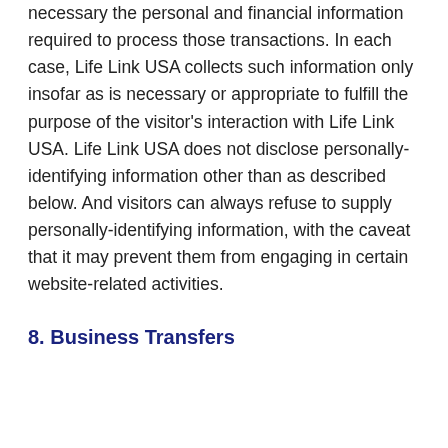necessary the personal and financial information required to process those transactions. In each case, Life Link USA collects such information only insofar as is necessary or appropriate to fulfill the purpose of the visitor's interaction with Life Link USA. Life Link USA does not disclose personally-identifying information other than as described below. And visitors can always refuse to supply personally-identifying information, with the caveat that it may prevent them from engaging in certain website-related activities.
8. Business Transfers